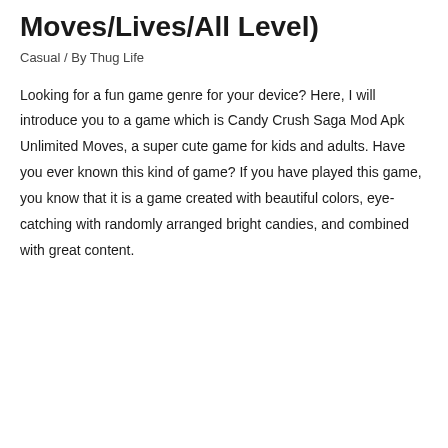Moves/Lives/All Level)
Casual / By Thug Life
Looking for a fun game genre for your device? Here, I will introduce you to a game which is Candy Crush Saga Mod Apk Unlimited Moves, a super cute game for kids and adults. Have you ever known this kind of game? If you have played this game, you know that it is a game created with beautiful colors, eye-catching with randomly arranged bright candies, and combined with great content.